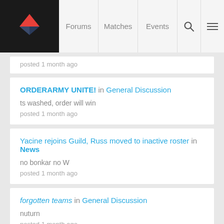Forums | Matches | Events
posted 1 month ago
ORDERARMY UNITE! in General Discussion
ts washed, order will win
posted 1 month ago
Yacine rejoins Guild, Russ moved to inactive roster in News
no bonkar no W
posted 1 month ago
forgotten teams in General Discussion
nuturn
posted 1 month ago
v1 vs tsm in Site Feedback
zombs supremacy